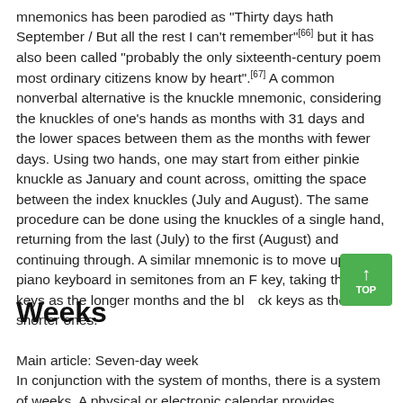mnemonics has been parodied as "Thirty days hath September / But all the rest I can't remember"[66] but it has also been called "probably the only sixteenth-century poem most ordinary citizens know by heart".[67] A common nonverbal alternative is the knuckle mnemonic, considering the knuckles of one's hands as months with 31 days and the lower spaces between them as the months with fewer days. Using two hands, one may start from either pinkie knuckle as January and count across, omitting the space between the index knuckles (July and August). The same procedure can be done using the knuckles of a single hand, returning from the last (July) to the first (August) and continuing through. A similar mnemonic is to move up a piano keyboard in semitones from an F key, taking the white keys as the longer months and the black keys as the shorter ones.
Weeks
Main article: Seven-day week
In conjunction with the system of months, there is a system of weeks. A physical or electronic calendar provides